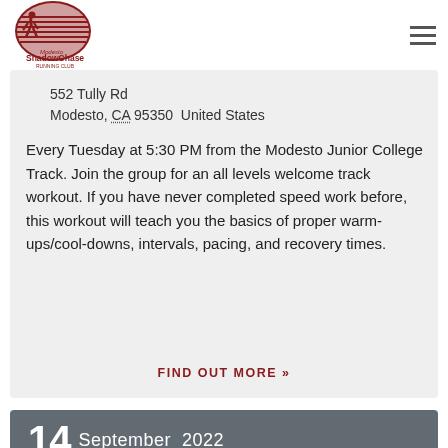[Figure (logo): Modesto ShadowChase Running Club logo — circular emblem with runner silhouette and horizontal lines, dark red/maroon color, with text 'Modesto ShadowChase Running Club']
552 Tully Rd
Modesto, CA 95350  United States
Every Tuesday at 5:30 PM from the Modesto Junior College Track. Join the group for an all levels welcome track workout. If you have never completed speed work before, this workout will teach you the basics of proper warm-ups/cool-downs, intervals, pacing, and recovery times.
FIND OUT MORE »
14  September  2022